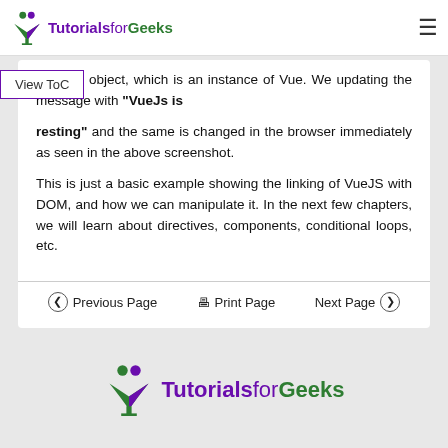TutorialsforGeeks
vue_det object, which is an instance of Vue. We updating the message with "VueJs is resting" and the same is changed in the browser immediately as seen in the above screenshot.
This is just a basic example showing the linking of VueJS with DOM, and how we can manipulate it. In the next few chapters, we will learn about directives, components, conditional loops, etc.
Previous Page   Print Page   Next Page
[Figure (logo): TutorialsforGeeks logo - footer]